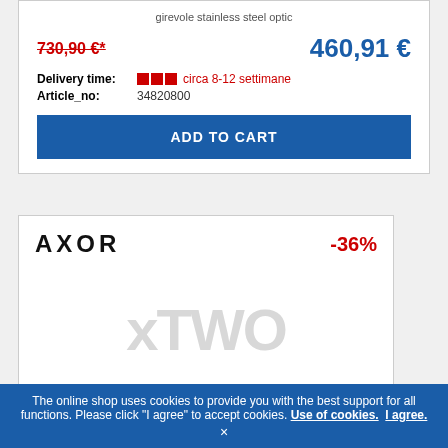girevole stainless steel optic
730,90 €*   460,91 €
Delivery time: circa 8-12 settimane
Article_no: 34820800
ADD TO CART
AXOR   -36%
[Figure (logo): xTWO watermark text in light gray]
The online shop uses cookies to provide you with the best support for all functions. Please click "I agree" to accept cookies. Use of cookies. I agree. ×